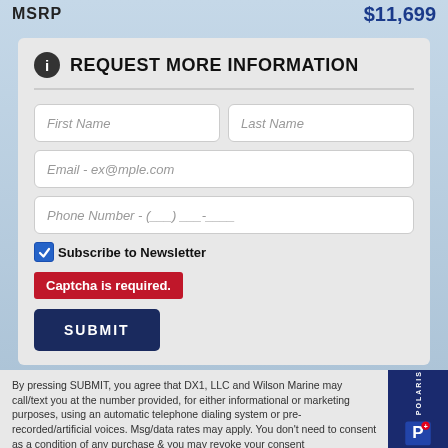MSRP   $11,699
REQUEST MORE INFORMATION
First Name
Last Name
Email - ex@mple.com
Phone Number - (___) ___-____
Subscribe to Newsletter
Captcha is required.
SUBMIT
By pressing SUBMIT, you agree that DX1, LLC and Wilson Marine may call/text you at the number provided, for either informational or marketing purposes, using an automatic telephone dialing system or pre-recorded/artificial voices. Msg/data rates may apply. You don't need to consent as a condition of any purchase & you may revoke your consent